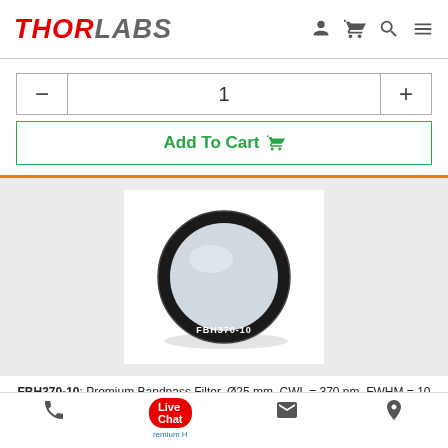THORLABS
1
Add To Cart
[Figure (photo): A circular bandpass filter labeled FBH370-10, with a black anodized aluminum housing and a light gray/blue optical coating, shown face-on.]
FBH370-10: Premium Bandpass Filter, Ø25 mm, CWL = 370 nm, FWHM = 10 nm
Phone | Live Chat | Email | Location